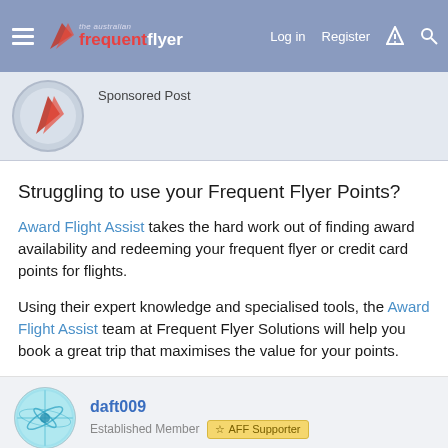The Australian Frequent Flyer — Log in  Register
Sponsored Post
Struggling to use your Frequent Flyer Points?
Award Flight Assist takes the hard work out of finding award availability and redeeming your frequent flyer or credit card points for flights.
Using their expert knowledge and specialised tools, the Award Flight Assist team at Frequent Flyer Solutions will help you book a great trip that maximises the value for your points.
daft009
Established Member  AFF Supporter